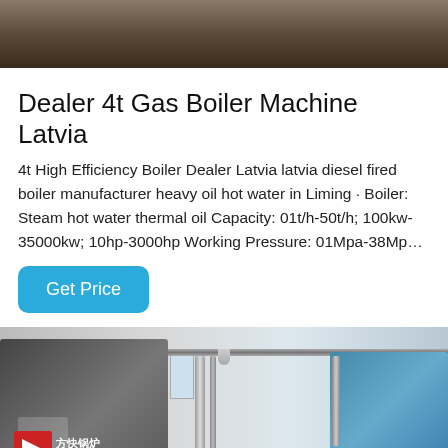[Figure (photo): Top portion of a boiler machine photo, brown/dark industrial equipment]
Dealer 4t Gas Boiler Machine Latvia
4t High Efficiency Boiler Dealer Latvia latvia diesel fired boiler manufacturer heavy oil hot water in Liming · Boiler: Steam hot water thermal oil Capacity: 01t/h-50t/h; 100kw-35000kw; 10hp-3000hp Working Pressure: 01Mpa-38Mp…
Get Price
[Figure (photo): Industrial boiler room showing two large cylindrical boilers (left one dark grey, right one light blue) with pipes and a Fangkuai brand logo on the left boiler]